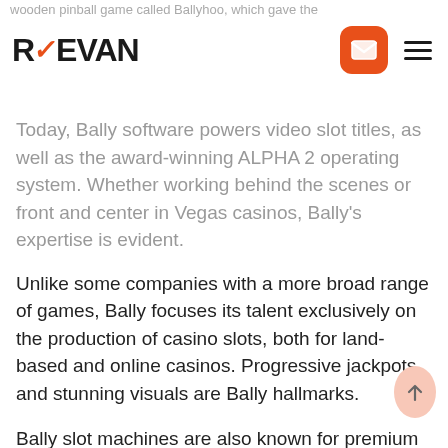wooden pinball game called Ballyhoo, which gave the
[Figure (logo): REEVAN logo with orange checkmark, orange email icon button, and hamburger menu icon]
Today, Bally software powers video slot titles, as well as the award-winning ALPHA 2 operating system. Whether working behind the scenes or front and center in Vegas casinos, Bally's expertise is evident.
Unlike some companies with a more broad range of games, Bally focuses its talent exclusively on the production of casino slots, both for land-based and online casinos. Progressive jackpots and stunning visuals are Bally hallmarks.
Bally slot machines are also known for premium features such as leaderboards and social gaming options, as well as for ties with popular film and entertainment brands such as Wonder Woman, Betty